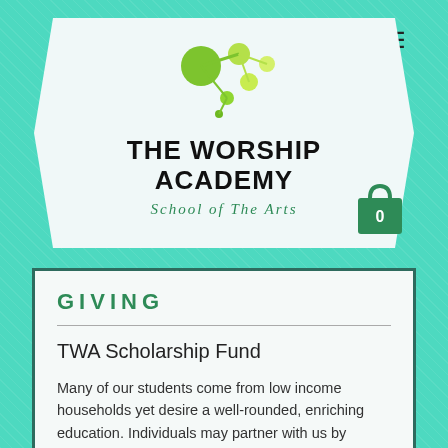[Figure (logo): The Worship Academy School of The Arts logo with green molecule/bubble graphic icon]
THE WORSHIP ACADEMY
School of The Arts
GIVING
TWA Scholarship Fund
Many of our students come from low income households yet desire a well-rounded, enriching education. Individuals may partner with us by making a donation today by calling